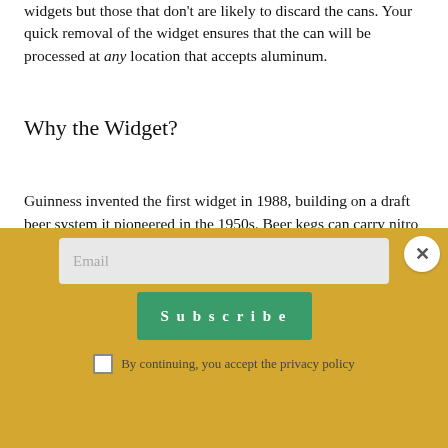widgets but those that don't are likely to discard the cans. Your quick removal of the widget ensures that the can will be processed at any location that accepts aluminum.
Why the Widget?
Guinness invented the first widget in 1988, building on a draft beer system it pioneered in the 1950s. Beer kegs can carry nitro widgets, too, but they are refilled by the brewer instead of being recycled.
The G...
[Figure (other): Email subscription modal overlay with a golden/yellow background, an email input field, a green Subscribe button, a close (X) button, and a checkbox with 'By continuing, you accept the privacy policy' text.]